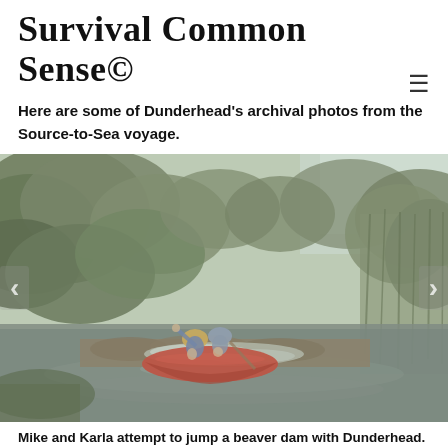Survival Common Sense©
Here are some of Dunderhead's archival photos from the Source-to-Sea voyage.
[Figure (photo): Two people in a red canoe attempting to jump over a beaver dam on a narrow river surrounded by dense vegetation and reeds. The person in front is waving. The photo has a faded, vintage quality.]
Mike and Karla attempt to jump a beaver dam with Dunderhead. It didn't work very well.